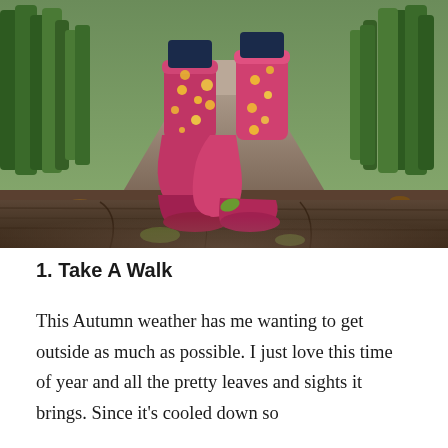[Figure (photo): A child wearing pink floral rain boots walking along a wooden plank path through an autumn forest. The photo is taken from a low angle showing the boots close-up with a dirt path and green trees receding in the background.]
1. Take A Walk
This Autumn weather has me wanting to get outside as much as possible. I just love this time of year and all the pretty leaves and sights it brings. Since it's cooled down so